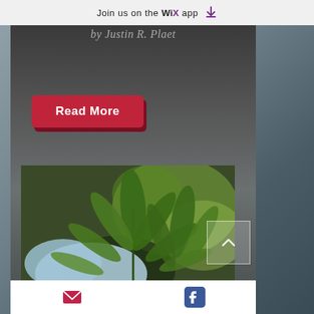Join us on the WiX app ↓
by Justin R. Plaet
[Figure (illustration): Red 3D button with text 'Read More' on a dark stormy background]
[Figure (photo): A gloved hand holding cannabis plant with green leaves against a blurred background]
Email icon and Facebook icon